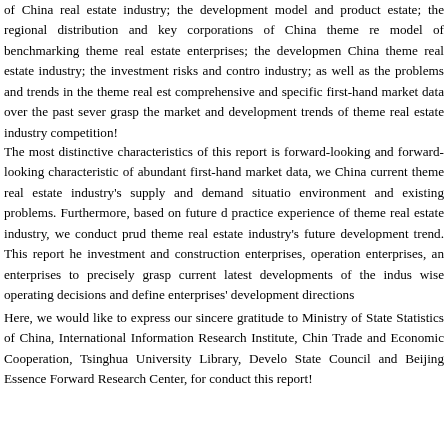of China real estate industry; the development model and product estate; the regional distribution and key corporations of China theme re model of benchmarking theme real estate enterprises; the developmen China theme real estate industry; the investment risks and contro industry; as well as the problems and trends in the theme real est comprehensive and specific first-hand market data over the past sever grasp the market and development trends of theme real estate industry competition!
The most distinctive characteristics of this report is forward-looking and forward-looking characteristic of abundant first-hand market data, we China current theme real estate industry's supply and demand situatio environment and existing problems. Furthermore, based on future d practice experience of theme real estate industry, we conduct prud theme real estate industry's future development trend. This report he investment and construction enterprises, operation enterprises, an enterprises to precisely grasp current latest developments of the indus wise operating decisions and define enterprises' development directions
Here, we would like to express our sincere gratitude to Ministry of State Statistics of China, International Information Research Institute, Chin Trade and Economic Cooperation, Tsinghua University Library, Develo State Council and Beijing Essence Forward Research Center, for conduct this report!